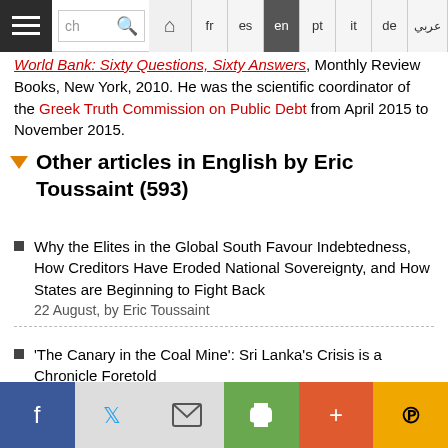Navigation bar with hamburger menu, search box, language selector (fr, es, en, pt, it, de, ar)
World Bank: Sixty Questions, Sixty Answers, Monthly Review Books, New York, 2010. He was the scientific coordinator of the Greek Truth Commission on Public Debt from April 2015 to November 2015.
Other articles in English by Eric Toussaint (593)
Why the Elites in the Global South Favour Indebtedness, How Creditors Have Eroded National Sovereignty, and How States are Beginning to Fight Back
22 August, by Eric Toussaint
'The Canary in the Coal Mine': Sri Lanka's Crisis is a Chronicle Foretold
7 August, by Eric Toussaint , Balasingham Skanthakumar
Social share bar: Facebook, Twitter, Email, Print, Plus, Pinterest